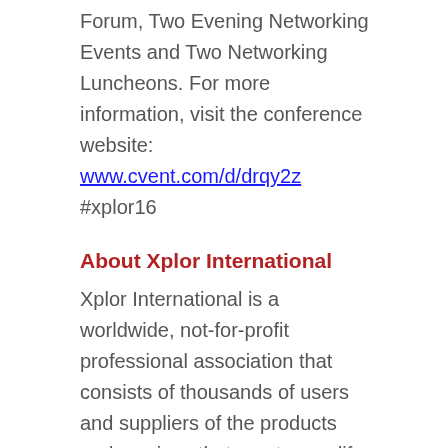Forum, Two Evening Networking Events and Two Networking Luncheons. For more information, visit the conference website: www.cvent.com/d/drqy2z #xplor16
About Xplor International
Xplor International is a worldwide, not-for-profit professional association that consists of thousands of users and suppliers of the products and services that create, modify, and deliver customized information using a wide variety of document technologies. The association provides educational products and programs for its members and the industry at large through conferences, meetings and annual events. Xplor International has its worldwide headquarters in